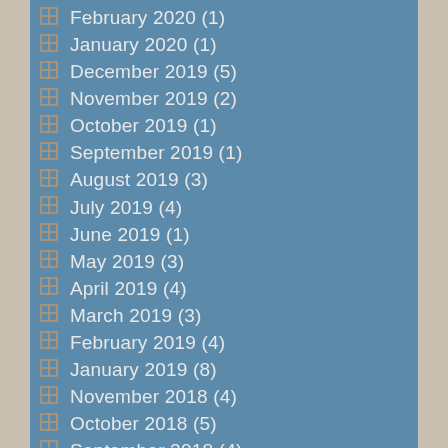February 2020 (1)
January 2020 (1)
December 2019 (5)
November 2019 (2)
October 2019 (1)
September 2019 (1)
August 2019 (3)
July 2019 (4)
June 2019 (1)
May 2019 (3)
April 2019 (4)
March 2019 (3)
February 2019 (4)
January 2019 (8)
November 2018 (4)
October 2018 (5)
September 2018 (4)
August 2018 (3)
July 2018 (4)
June 2018 (3)
May 2018 (4)